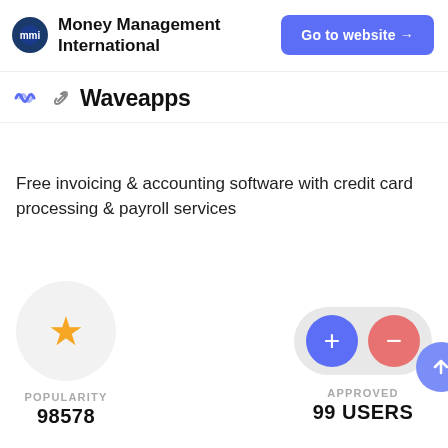Money Management International
Waveapps
Free invoicing & accounting software with credit card processing & payroll services
POPULARITY
98578
APPROVED
99 USERS